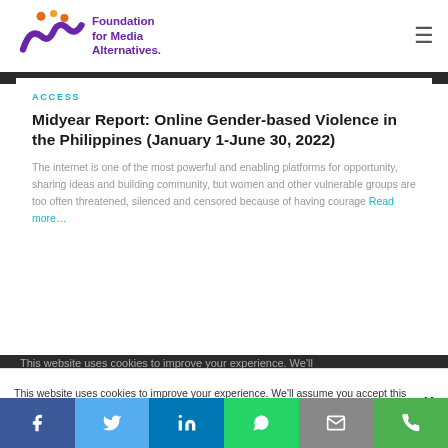Foundation for Media Alternatives
ACCESS
Midyear Report: Online Gender-based Violence in the Philippines (January 1-June 30, 2022)
The internet is one of the most powerful and enabling platforms for opportunity, sharing ideas and building community, but women and other vulnerable groups are too often threatened, silenced and censored because of having courage Read more…
This website uses cookies to improve your experience. We'll assume you accept this policy as long as you are using this
f  t  in  (whatsapp)  (email)  (phone)